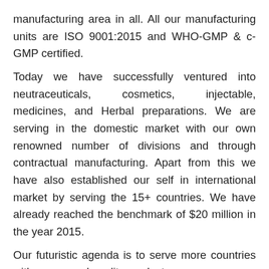manufacturing area in all. All our manufacturing units are ISO 9001:2015 and WHO-GMP & c-GMP certified.
Today we have successfully ventured into neutraceuticals, cosmetics, injectable, medicines, and Herbal preparations. We are serving in the domestic market with our own renowned number of divisions and through contractual manufacturing. Apart from this we have also established our self in international market by serving the 15+ countries. We have already reached the benchmark of $20 million in the year 2015.
Our futuristic agenda is to serve more countries with more good quality products.
The company employs approximately 550 employees at its three manufacturing facilities.The strength of our organization is our highly committed and experienced team. The strength of our NIPRO based world-class attested...